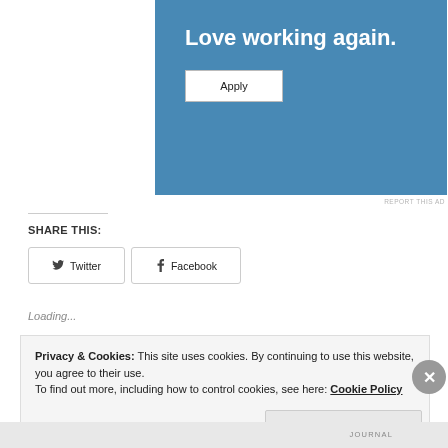[Figure (other): Advertisement banner with blue background showing text 'Love working again.' and an Apply button]
REPORT THIS AD
SHARE THIS:
Twitter
Facebook
Loading...
Privacy & Cookies: This site uses cookies. By continuing to use this website, you agree to their use.
To find out more, including how to control cookies, see here: Cookie Policy
Close and accept